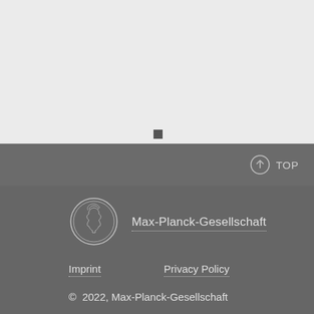[Figure (other): Light gray background section (top portion of page), with a small dark gray square icon near the bottom center]
TOP
[Figure (logo): Max-Planck-Gesellschaft circular medallion logo with a profile of Minerva]
Max-Planck-Gesellschaft
Imprint
Privacy Policy
© 2022, Max-Planck-Gesellschaft